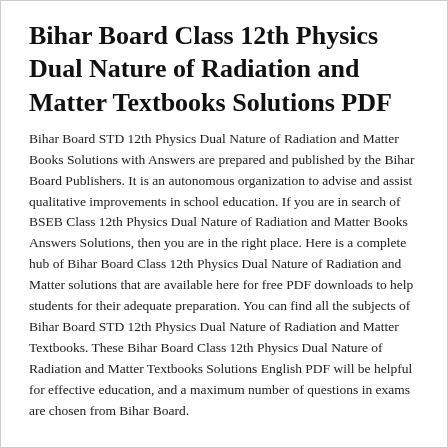Bihar Board Class 12th Physics Dual Nature of Radiation and Matter Textbooks Solutions PDF
Bihar Board STD 12th Physics Dual Nature of Radiation and Matter Books Solutions with Answers are prepared and published by the Bihar Board Publishers. It is an autonomous organization to advise and assist qualitative improvements in school education. If you are in search of BSEB Class 12th Physics Dual Nature of Radiation and Matter Books Answers Solutions, then you are in the right place. Here is a complete hub of Bihar Board Class 12th Physics Dual Nature of Radiation and Matter solutions that are available here for free PDF downloads to help students for their adequate preparation. You can find all the subjects of Bihar Board STD 12th Physics Dual Nature of Radiation and Matter Textbooks. These Bihar Board Class 12th Physics Dual Nature of Radiation and Matter Textbooks Solutions English PDF will be helpful for effective education, and a maximum number of questions in exams are chosen from Bihar Board.